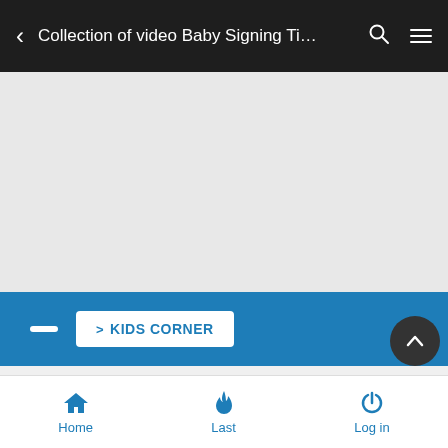Collection of video Baby Signing Ti…
[Figure (screenshot): Gray empty content area placeholder]
[Figure (screenshot): Blue bar with white dash and Kids Corner button]
Collection of video Baby Signing Time 4 DVDs
2 posters
Home  Last  Log in